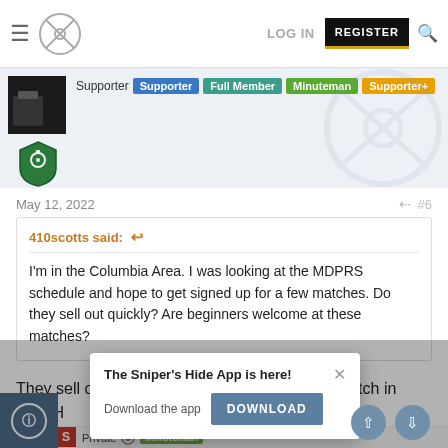LOG IN | REGISTER
[Figure (screenshot): User profile section showing membership badges: Supporter, Supporter (blue), Full Member (teal), Minuteman (green), Supporter+ (orange), and a grenade shield icon]
May 12, 2022  #6
410scotts said:  I'm in the Columbia Area. I was looking at the MDPRS schedule and hope to get signed up for a few matches. Do they sell out quickly? Are beginners welcome at these matches?
They sell out quickly. Right now the June 5th match in New H... welcome
[Figure (screenshot): Popup notification: 'The Sniper's Hide App is here! Download the app DOWNLOAD' with close button]
Private  Minuteman